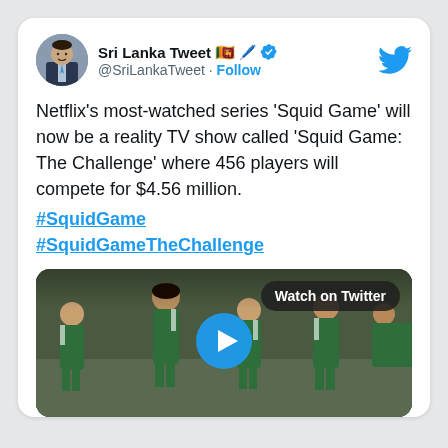[Figure (screenshot): Tweet from @SriLankaTweet with profile avatar and Twitter bird logo, followed by tweet text and embedded video thumbnail of Squid Game contestants in green tracksuits]
Sri Lanka Tweet 🇱🇰 🖊️ ✅
@SriLankaTweet · Follow
Netflix's most-watched series 'Squid Game' will now be a reality TV show called 'Squid Game: The Challenge' where 456 players will compete for $4.56 million.
#SquidGame
#SquidGameTheChallenge